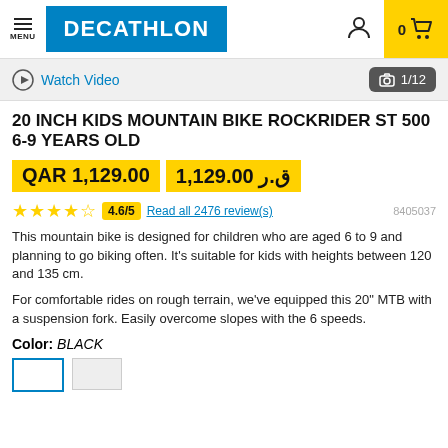MENU | DECATHLON | 0 (cart)
Watch Video | 1/12
20 INCH KIDS MOUNTAIN BIKE ROCKRIDER ST 500 6-9 YEARS OLD
QAR 1,129.00  ق.ر 1,129.00
4.6/5 Read all 2476 review(s) 8405037
This mountain bike is designed for children who are aged 6 to 9 and planning to go biking often. It's suitable for kids with heights between 120 and 135 cm.
For comfortable rides on rough terrain, we've equipped this 20" MTB with a suspension fork. Easily overcome slopes with the 6 speeds.
Color: BLACK